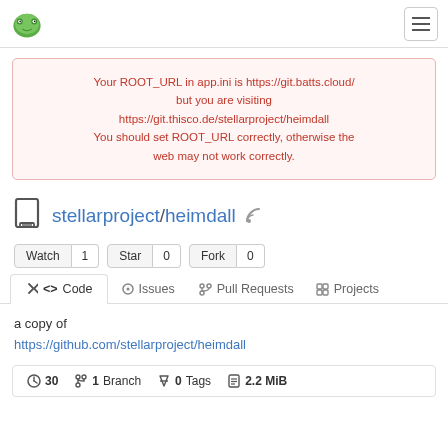Gitea logo and hamburger menu
Your ROOT_URL in app.ini is https://git.batts.cloud/ but you are visiting https://git.thisco.de/stellarproject/heimdall You should set ROOT_URL correctly, otherwise the web may not work correctly.
stellarproject / heimdall
Watch 1  Star 0  Fork 0
<> Code  Issues  Pull Requests  Projects
a copy of
https://github.com/stellarproject/heimdall
30  1 Branch  0 Tags  2.2 MiB